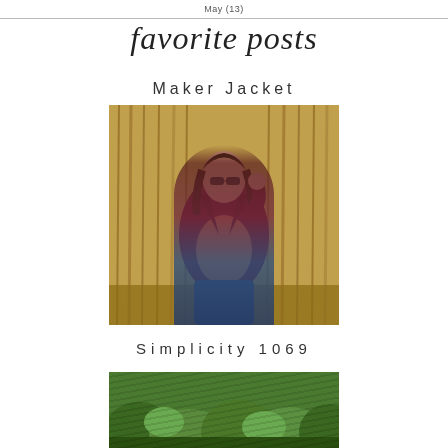May (13)
favorite posts
Maker Jacket
[Figure (photo): Woman wearing a burgundy/maroon jacket over a floral top, standing in front of dried corn stalks, wearing sunglasses]
Simplicity 1069
[Figure (photo): Partial photo showing green foliage/plants at the bottom of the page]